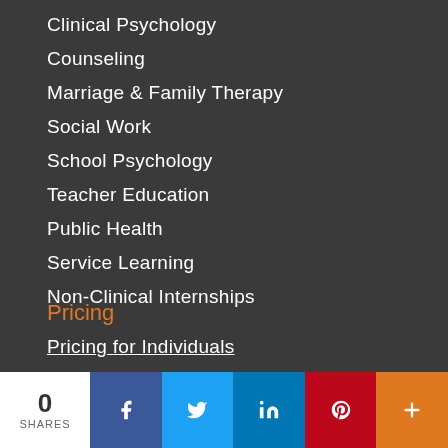Clinical Psychology
Counseling
Marriage & Family Therapy
Social Work
School Psychology
Teacher Education
Public Health
Service Learning
Non-Clinical Internships
Pricing
Pricing for Individuals
0 SHARES